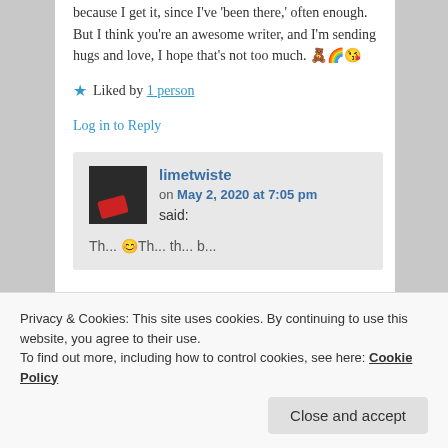because I get it, since I've 'been there,' often enough. But I think you're an awesome writer, and I'm sending hugs and love, I hope that's not too much. 🧸🌈😘
★ Liked by 1 person
Log in to Reply
limetwiste on May 2, 2020 at 7:05 pm said:
Privacy & Cookies: This site uses cookies. By continuing to use this website, you agree to their use. To find out more, including how to control cookies, see here: Cookie Policy